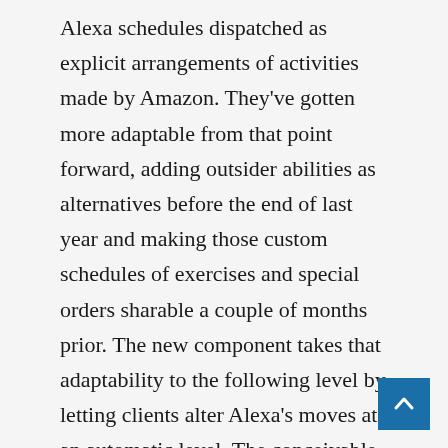Alexa schedules dispatched as explicit arrangements of activities made by Amazon. They've gotten more adaptable from that point forward, adding outsider abilities as alternatives before the end of last year and making those custom schedules of exercises and special orders sharable a couple of months prior. The new component takes that adaptability to the following level by letting clients alter Alexa's moves at an automatic level. The conceivable outcomes are as broad as any order you want to give Alexa, from working smart home gadgets to making quips when you prepare for bed. The activities can be added when clients set up a daily practice in the Alexa application.Timetable alarms and other updates are additionally more customized with the